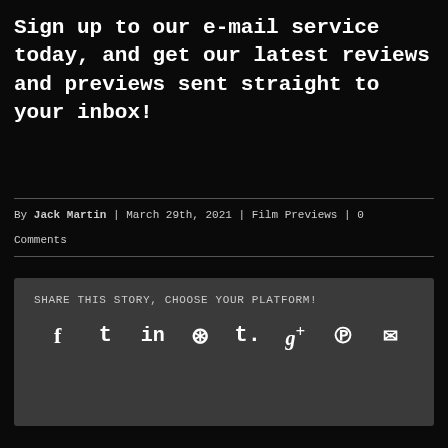Sign up to our e-mail service today, and get our latest reviews and previews sent straight to your inbox!
By Jack Martin | March 29th, 2021 | Film Previews | 0 Comments
SHARE THIS STORY, CHOOSE YOUR PLATFORM!